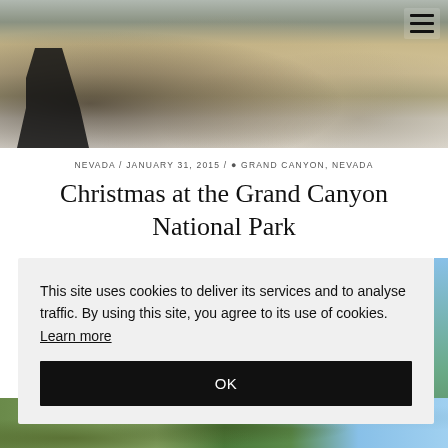[Figure (photo): Outdoor photo showing rocky terrain with snow patches; a person in dark clothing visible at lower left edge]
NEVADA / JANUARY 31, 2015 / ◉ GRAND CANYON, NEVADA
Christmas at the Grand Canyon National Park
This site uses cookies to deliver its services and to analyse traffic. By using this site, you agree to its use of cookies. Learn more
OK
[Figure (photo): Partial outdoor landscape photo showing green trees and blue sky at bottom of page]